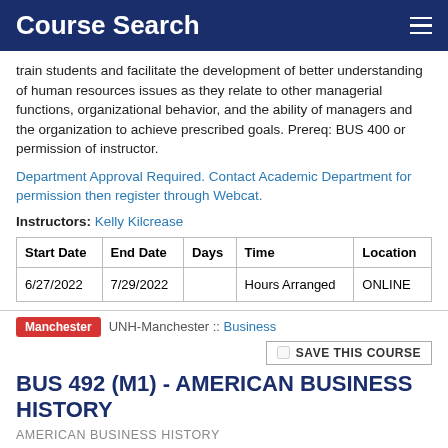Course Search
train students and facilitate the development of better understanding of human resources issues as they relate to other managerial functions, organizational behavior, and the ability of managers and the organization to achieve prescribed goals. Prereq: BUS 400 or permission of instructor.
Department Approval Required. Contact Academic Department for permission then register through Webcat.
Instructors: Kelly Kilcrease
| Start Date | End Date | Days | Time | Location |
| --- | --- | --- | --- | --- |
| 6/27/2022 | 7/29/2022 |  | Hours Arranged | ONLINE |
Manchester  UNH-Manchester :: Business
BUS 492 (M1) - AMERICAN BUSINESS HISTORY
AMERICAN BUSINESS HISTORY